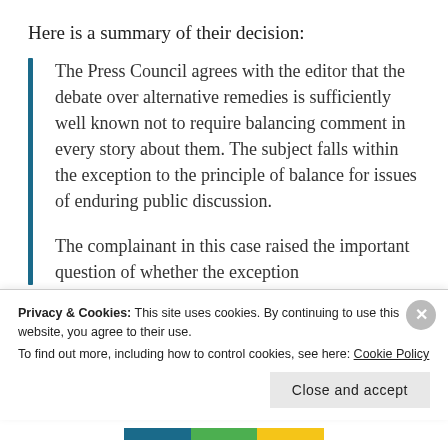Here is a summary of their decision:
The Press Council agrees with the editor that the debate over alternative remedies is sufficiently well known not to require balancing comment in every story about them. The subject falls within the exception to the principle of balance for issues of enduring public discussion.

The complainant in this case raised the important question of whether the exception
Privacy & Cookies: This site uses cookies. By continuing to use this website, you agree to their use.
To find out more, including how to control cookies, see here: Cookie Policy
Close and accept